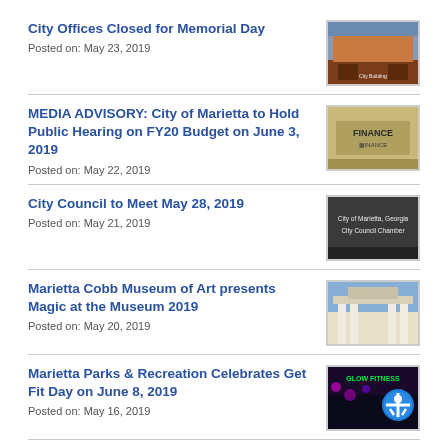City Offices Closed for Memorial Day
Posted on: May 23, 2019
[Figure (photo): Photo of a city building exterior]
MEDIA ADVISORY: City of Marietta to Hold Public Hearing on FY20 Budget on June 3, 2019
Posted on: May 22, 2019
[Figure (photo): Photo of a FINANCE sign]
City Council to Meet May 28, 2019
Posted on: May 21, 2019
[Figure (photo): Photo of City of Marietta, Georgia City Council Chamber sign]
Marietta Cobb Museum of Art presents Magic at the Museum 2019
Posted on: May 20, 2019
[Figure (photo): Photo of a white columned building]
Marietta Parks & Recreation Celebrates Get Fit Day on June 8, 2019
Posted on: May 16, 2019
[Figure (photo): Photo of Glow Fitness event with accessibility icon overlay]